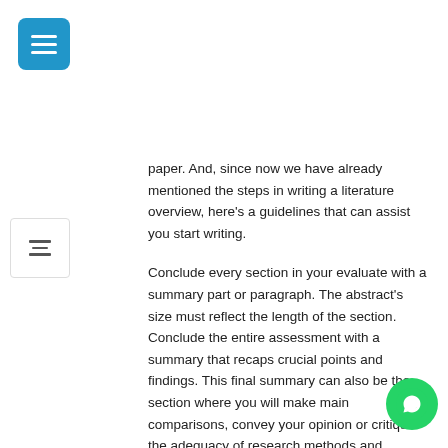[Figure (other): Blue hamburger menu button icon in top-left corner]
[Figure (other): Filter/sliders icon button on left side]
paper. And, since now we have already mentioned the steps in writing a literature overview, here's a guidelines that can assist you start writing.
Conclude every section in your evaluate with a summary part or paragraph. The abstract's size must reflect the length of the section. Conclude the entire assessment with a summary that recaps crucial points and findings. This final summary can also be the section where you will make main comparisons, convey your opinion or critique the adequacy of research methods and approaches, and identify inconsistencies. Your critique lets you finish your literature assessment by posing unanswered questions, proposing approaches upcoming research. If your literature assessment is an introduction your research, your critique should assist the
[Figure (other): WhatsApp green circular icon button in bottom-right corner]